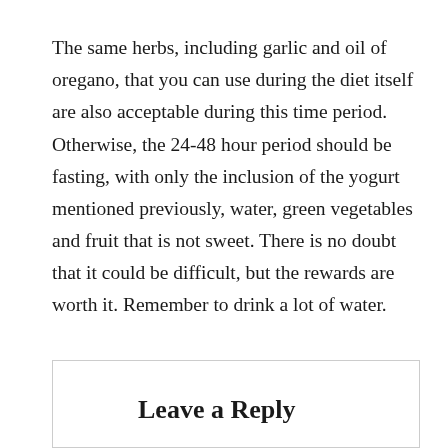The same herbs, including garlic and oil of oregano, that you can use during the diet itself are also acceptable during this time period. Otherwise, the 24-48 hour period should be fasting, with only the inclusion of the yogurt mentioned previously, water, green vegetables and fruit that is not sweet. There is no doubt that it could be difficult, but the rewards are worth it. Remember to drink a lot of water.
Leave a Reply